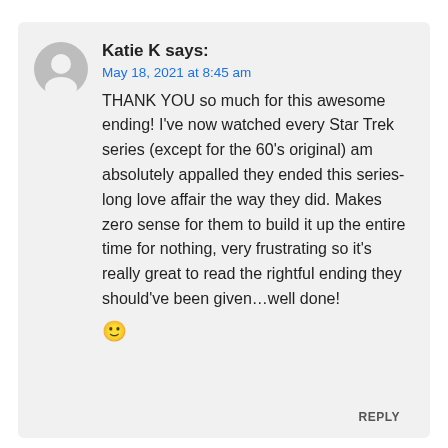Katie K says:
May 18, 2021 at 8:45 am
THANK YOU so much for this awesome ending! I've now watched every Star Trek series (except for the 60's original) am absolutely appalled they ended this series-long love affair the way they did. Makes zero sense for them to build it up the entire time for nothing, very frustrating so it's really great to read the rightful ending they should've been given…well done! 🙂
REPLY